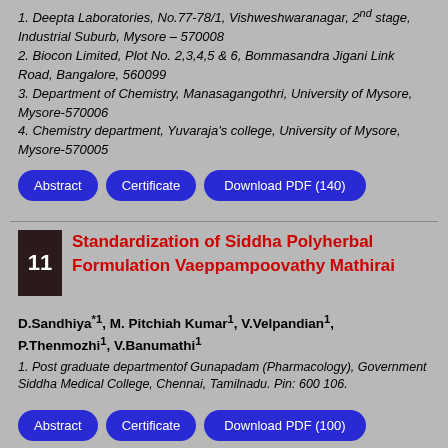1. Deepta Laboratories, No.77-78/1, Vishweshwaranagar, 2nd stage, Industrial Suburb, Mysore – 570008
2. Biocon Limited, Plot No. 2,3,4,5 & 6, Bommasandra Jigani Link Road, Bangalore, 560099
3. Department of Chemistry, Manasagangothri, University of Mysore, Mysore-570006
4. Chemistry department, Yuvaraja's college, University of Mysore, Mysore-570005
Abstract
Certificate
Download PDF (140)
Standardization of Siddha Polyherbal Formulation Vaeppampoovathy Mathirai
D.Sandhiya*1, M. Pitchiah Kumar1, V.Velpandian1, P.Thenmozhi1, V.Banumathi1
1. Post graduate departmentof Gunapadam (Pharmacology), Government Siddha Medical College, Chennai, Tamilnadu. Pin: 600 106.
Abstract
Certificate
Download PDF (100)